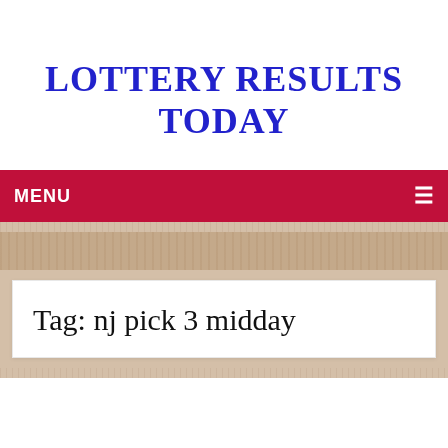LOTTERY RESULTS TODAY
MENU
Tag: nj pick 3 midday